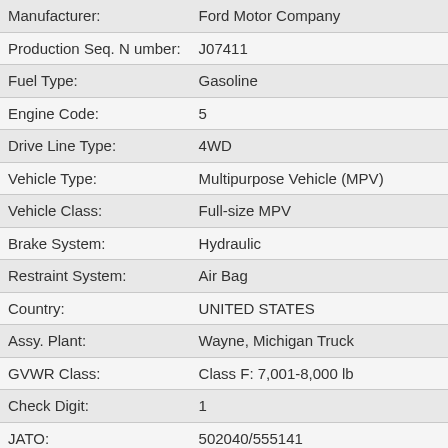| Field | Value |
| --- | --- |
| Manufacturer: | Ford Motor Company |
| Production Seq. Number: | J07411 |
| Fuel Type: | Gasoline |
| Engine Code: | 5 |
| Drive Line Type: | 4WD |
| Vehicle Type: | Multipurpose Vehicle (MPV) |
| Vehicle Class: | Full-size MPV |
| Brake System: | Hydraulic |
| Restraint System: | Air Bag |
| Country: | UNITED STATES |
| Assy. Plant: | Wayne, Michigan Truck |
| GVWR Class: | Class F: 7,001-8,000 lb |
| Check Digit: | 1 |
| JATO: | 502040/555141 |